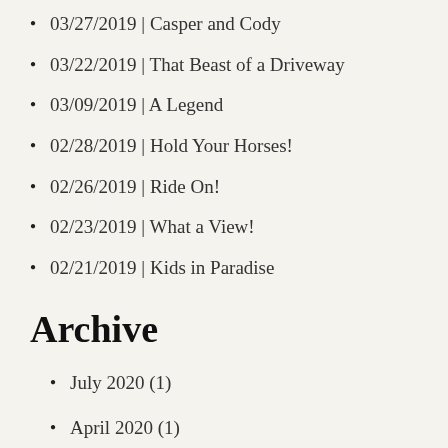03/27/2019 | Casper and Cody
03/22/2019 | That Beast of a Driveway
03/09/2019 | A Legend
02/28/2019 | Hold Your Horses!
02/26/2019 | Ride On!
02/23/2019 | What a View!
02/21/2019 | Kids in Paradise
Archive
July 2020 (1)
April 2020 (1)
January 2020 (1)